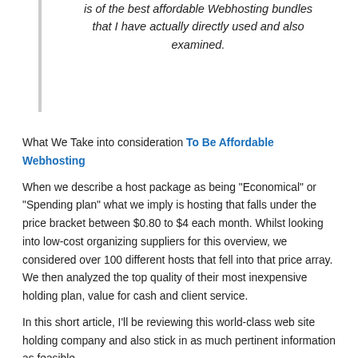is of the best affordable Webhosting bundles that I have actually directly used and also examined.
What We Take into consideration To Be Affordable Webhosting When we describe a host package as being “Economical” or “Spending plan” what we imply is hosting that falls under the price bracket between $0.80 to $4 each month. Whilst looking into low-cost organizing suppliers for this overview, we considered over 100 different hosts that fell into that price array. We then analyzed the top quality of their most inexpensive holding plan, value for cash and client service.
In this short article, I’ll be reviewing this world-class web site holding company and also stick in as much pertinent information as feasible.